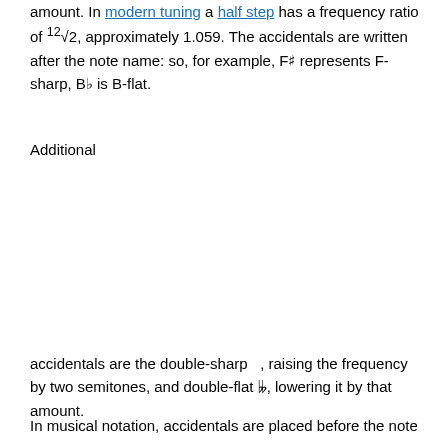amount. In modern tuning a half step has a frequency ratio of 12√2, approximately 1.059. The accidentals are written after the note name: so, for example, F♯ represents F-sharp, B♭ is B-flat.
Additional
accidentals are the double-sharp 𝄪, raising the frequency by two semitones, and double-flat 𝄫, lowering it by that amount.
In musical notation, accidentals are placed before the note